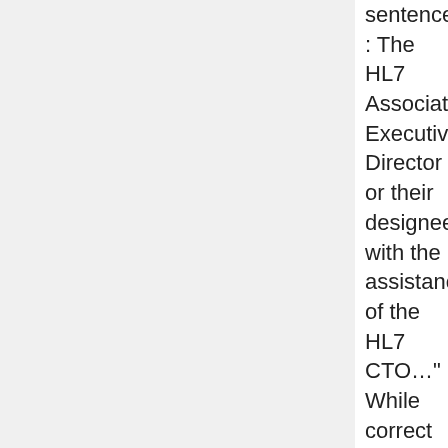sentence : The HL7 Associate Executive Director or their designee, with the assistance of the HL7 CTO…" While correct usage, the word "their" is superfluous in the context.
MOTION to approve the recommendation: Ken/Lorraine
VOTE: Jean is opposed. Remaining in favor.
ACTION: Anne to work with John to send to GOC